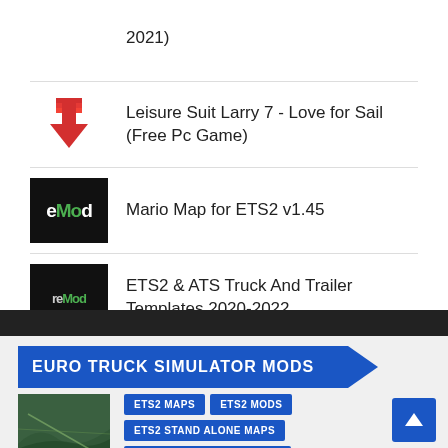2021)
Leisure Suit Larry 7 - Love for Sail (Free Pc Game)
Mario Map for ETS2 v1.45
ETS2 & ATS Truck And Trailer Templates 2020-2022
EURO TRUCK SIMULATOR MODS
[Figure (screenshot): Aerial/satellite map screenshot]
ETS2 MAPS  ETS2 MODS  ETS2 STAND ALONE MAPS  EURO TRUCK SIMULATOR 2